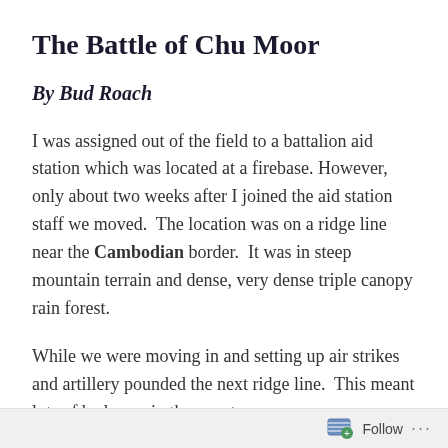The Battle of Chu Moor
By Bud Roach
I was assigned out of the field to a battalion aid station which was located at a firebase. However, only about two weeks after I joined the aid station staff we moved. The location was on a ridge line near the Cambodian border. It was in steep mountain terrain and dense, very dense triple canopy rain forest.
While we were moving in and setting up air strikes and artillery pounded the next ridge line. This meant lots of bad guys in the area to
Follow ...